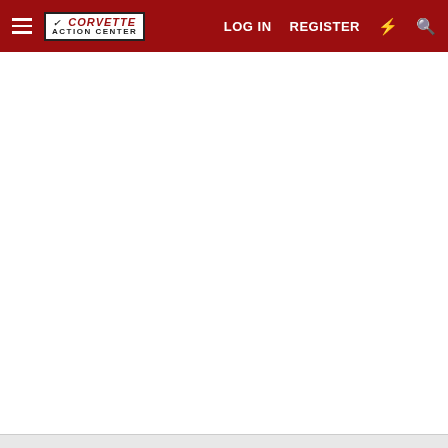Corvette Action Center — LOG IN | REGISTER
[Figure (screenshot): Large white blank content area below the navigation header]
infolinks uses cookies to help personalise content, tailor your
[Figure (infographic): Advertisement panel: 'Used semi trucks for sale — visit rjstrucksales.com/ to learn more — www.rjstrucksales.com' with truck image thumbnail and blue arrow button, plus close X button]